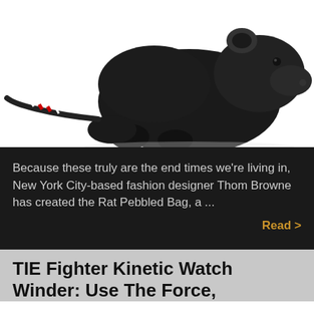[Figure (photo): Black leather rat-shaped handbag by Thom Browne (Rat Pebbled Bag) on a white background. The bag has a striped red, white and black tail.]
Because these truly are the end times we're living in, New York City-based fashion designer Thom Browne has created the Rat Pebbled Bag, a ...
Read >
TIE Fighter Kinetic Watch Winder: Use The Force, Luke